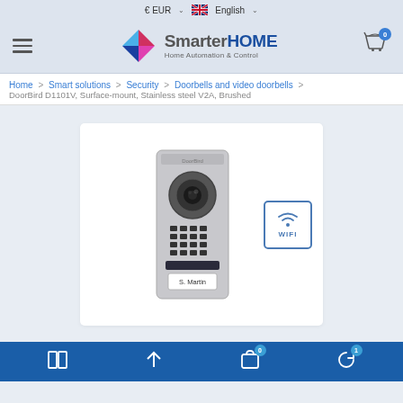€ EUR   English
[Figure (logo): SmarterHOME Home Automation & Control logo with a colorful hexagon icon]
Home > Smart solutions > Security > Doorbells and video doorbells > DoorBird D1101V, Surface-mount, Stainless steel V2A, Brushed
[Figure (photo): DoorBird D1101V Surface-mount video doorbell in stainless steel V2A brushed finish with camera, keypad, and name plate reading S. Martin. WIFI badge overlay icon.]
Navigation toolbar with compare, scroll-up, cart (0), and history (1) icons